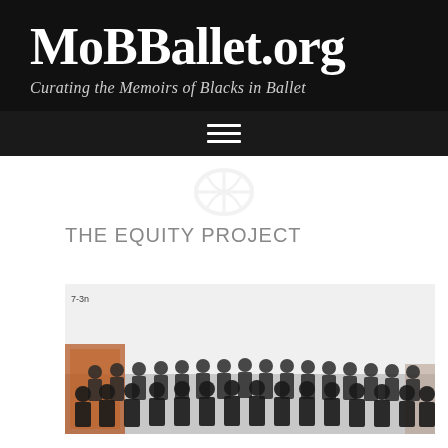MoBBallet.org
Curating the Memoirs of Blacks in Ballet
[Figure (other): Hamburger menu icon (three horizontal white lines) on dark background navigation bar]
THE EQUITY PROJECT
[Figure (photo): Group photo of approximately 30-40 people standing together in a room, with timestamp '7-3n' visible in upper left corner]